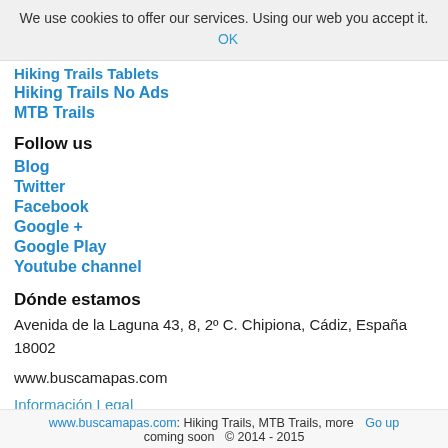We use cookies to offer our services. Using our web you accept it. OK
Hiking Trails Tablets
Hiking Trails No Ads
MTB Trails
Follow us
Blog
Twitter
Facebook
Google +
Google Play
Youtube channel
Dónde estamos
Avenida de la Laguna 43, 8, 2º C. Chipiona, Cádiz, España 18002
www.buscamapas.com
Información Legal
www.buscamapas.com: Hiking Trails, MTB Trails, more Go up coming soon © 2014 - 2015